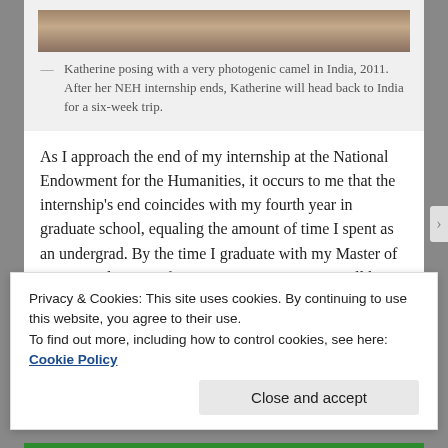[Figure (photo): Partial view of a photo showing Katherine posing with a camel in India, 2011 — top portion of image visible.]
Katherine posing with a very photogenic camel in India, 2011. After her NEH internship ends, Katherine will head back to India for a six-week trip.
As I approach the end of my internship at the National Endowment for the Humanities, it occurs to me that the internship's end coincides with my fourth year in graduate school, equaling the amount of time I spent as an undergrad. By the time I graduate with my Master of Fine Arts degree in fiction writing next May, I will have spent more time in graduate school than as an undergraduate.
Privacy & Cookies: This site uses cookies. By continuing to use this website, you agree to their use. To find out more, including how to control cookies, see here: Cookie Policy